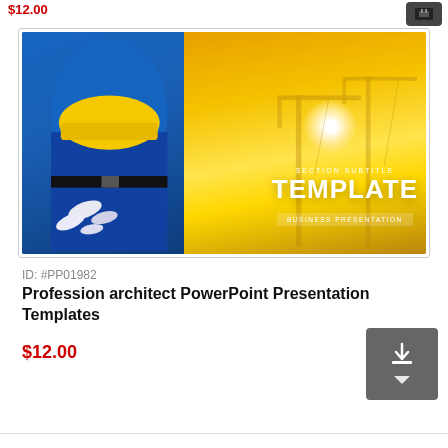$12.00
[Figure (photo): Construction/architecture PowerPoint template preview showing a person in blue jacket holding blueprints and yellow hard hat on left, yellow background with cranes silhouette and sun on right, with text 'SECTION SUBTITLE TEMPLATE BUSINESS PRESENTATION']
ID: #PP01982
Profession architect PowerPoint Presentation Templates
$12.00